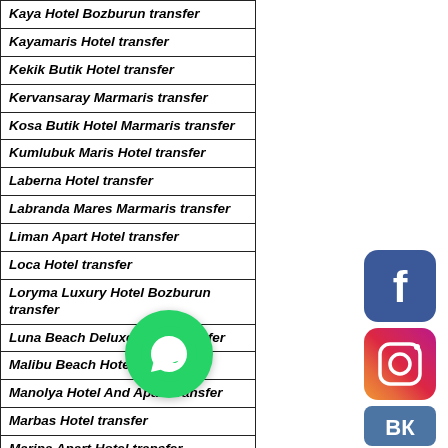Kaya Hotel Bozburun transfer
Kayamaris Hotel transfer
Kekik Butik Hotel transfer
Kervansaray Marmaris transfer
Kosa Butik Hotel Marmaris transfer
Kumlubuk Maris Hotel transfer
Laberna Hotel transfer
Labranda Mares Marmaris transfer
Liman Apart Hotel transfer
Loca Hotel transfer
Loryma Luxury Hotel Bozburun transfer
Luna Beach Deluxe Hotel transfer
Malibu Beach Hotel transfer
Manolya Hotel And Apart transfer
Marbas Hotel transfer
Marina Apart Hotel transfer
Marmaris Beach Hotel transfer
[Figure (logo): Facebook logo icon - blue rounded square with white F]
[Figure (logo): Instagram logo icon - gradient rounded square with camera icon]
[Figure (logo): VK logo icon - blue rounded square with VK letters]
[Figure (logo): WhatsApp logo - green circle with white phone/chat icon]